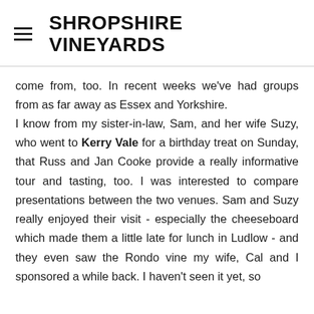SHROPSHIRE VINEYARDS
come from, too. In recent weeks we've had groups from as far away as Essex and Yorkshire. I know from my sister-in-law, Sam, and her wife Suzy, who went to Kerry Vale for a birthday treat on Sunday, that Russ and Jan Cooke provide a really informative tour and tasting, too. I was interested to compare presentations between the two venues. Sam and Suzy really enjoyed their visit - especially the cheeseboard which made them a little late for lunch in Ludlow - and they even saw the Rondo vine my wife, Cal and I sponsored a while back. I haven't seen it yet, so